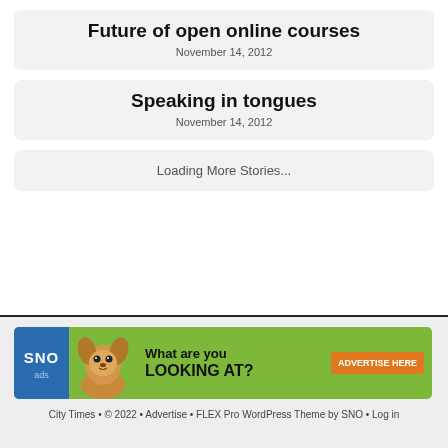Future of open online courses
November 14, 2012
Speaking in tongues
November 14, 2012
Loading More Stories...
[Figure (infographic): SNO ads banner advertisement with chihuahua dog image, text 'What are you LOOKING AT?' and orange 'ADVERTISE HERE' button on green background]
City Times • © 2022 • Advertise • FLEX Pro WordPress Theme by SNO • Log in